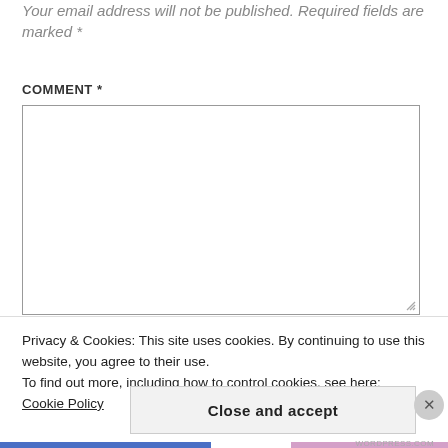Your email address will not be published. Required fields are marked *
COMMENT *
[Figure (screenshot): Empty comment textarea input box with resize handle]
Privacy & Cookies: This site uses cookies. By continuing to use this website, you agree to their use.
To find out more, including how to control cookies, see here: Cookie Policy
Close and accept